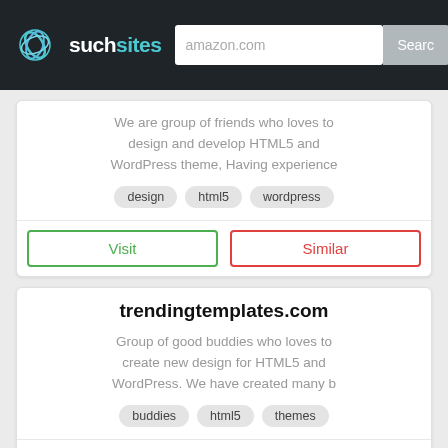such sites | amazon.com | Search
We are group of friends who loves to design and develop HTML5 and WordPress theme, Having experience
design   html5   wordpress
Visit   Similar
trendingtemplates.com
Group of good buddies who loves to create new design for HTML5 and WordPress. We have created many b
buddies   html5   themes
Visit   Similar